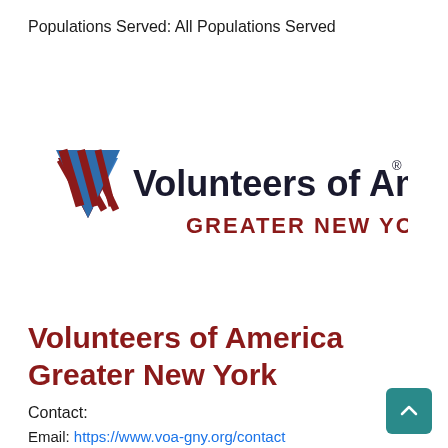Populations Served: All Populations Served
[Figure (logo): Volunteers of America Greater New York logo — blue triangle on left with red diagonal stripes, dark blue sans-serif text 'Volunteers of America' with registered trademark symbol, red uppercase text 'GREATER NEW YORK' below]
Volunteers of America Greater New York
Contact:
Email: https://www.voa-gny.org/contact